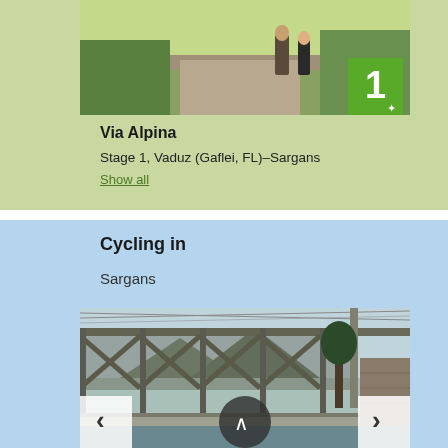[Figure (photo): Top hiking trail photo showing two people walking on a gravel path through green meadows, with number 1 badge overlay]
Via Alpina
Stage 1, Vaduz (Gaflei, FL)–Sargans
Show all
Cycling in
Sargans
[Figure (photo): Cycling path photo showing a bridge with metal truss structure, train railway overhead cables, mountains in background, with navigation arrows overlay]